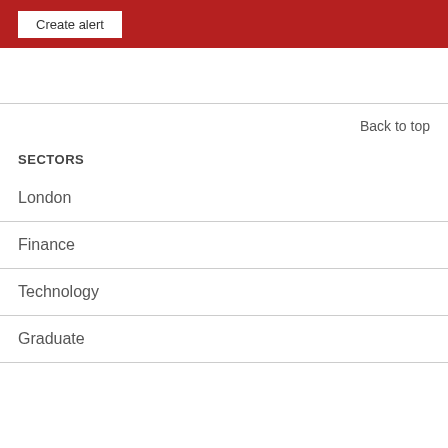Create alert
Back to top
SECTORS
London
Finance
Technology
Graduate